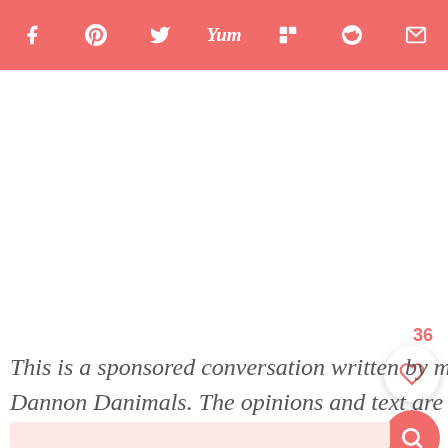Social sharing bar with icons: Facebook, Pinterest, Twitter, Yummly, Flipboard, Reddit, Email
This is a sponsored conversation written by me on behalf of Fuel Up to Play 60 and Dannon Danimals. The opinions and text are all mine.